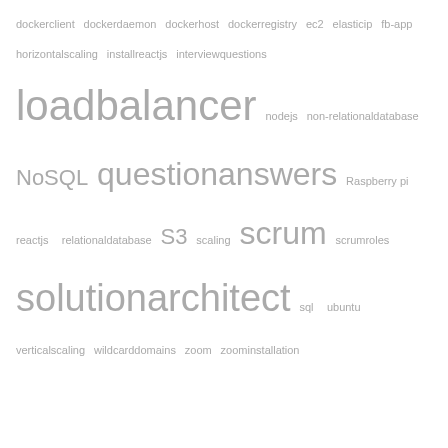[Figure (infographic): Tag cloud showing various technology and programming related terms in different font sizes, indicating relative frequency/importance. Terms include: dockerclient, dockerdaemon, dockerhost, dockerregistry, ec2, elasticip, fb-app, horizontalscaling, installreactjs, interviewquestions, loadbalancer (largest), nodejs, non-relationaldatabase, NoSQL, questionanswers (large), Raspberry pi, reactjs, relationaldatabase, S3, scaling, scrum (large), scrumroles, solutionarchitect (large), sql, ubuntu, verticalscaling, wildcarddomains, zoom, zoominstallation]